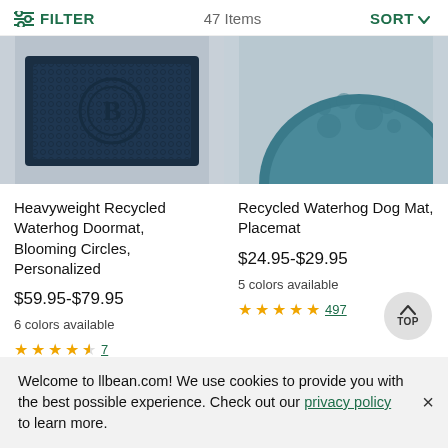FILTER  47 Items  SORT
[Figure (photo): Dark navy blue rectangular doormat with embossed blooming circle pattern and monogram letter B in the center]
[Figure (photo): Blue-teal semicircular waterhog dog mat/placemat with paw print design]
Heavyweight Recycled Waterhog Doormat, Blooming Circles, Personalized
$59.95-$79.95
6 colors available
★★★★½ 7
Recycled Waterhog Dog Mat, Placemat
$24.95-$29.95
5 colors available
★★★★★ 497
Welcome to llbean.com! We use cookies to provide you with the best possible experience. Check out our privacy policy to learn more.